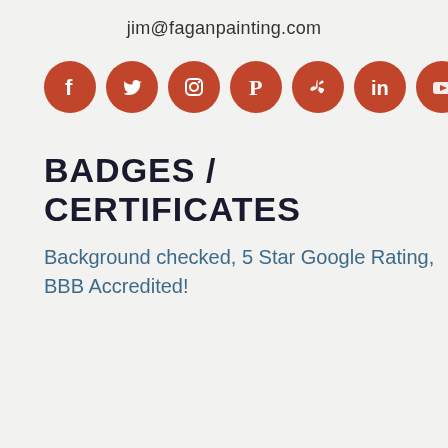jim@faganpainting.com
[Figure (infographic): Row of 8 social media icons (Facebook, Twitter, Instagram, Pinterest, Yelp, LinkedIn, YouTube, Reddit) as white symbols on dark red circular backgrounds]
BADGES / CERTIFICATES
Background checked, 5 Star Google Rating, BBB Accredited!